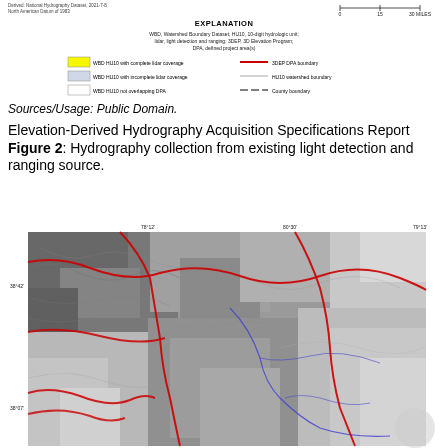[Figure (infographic): Map legend/explanation box showing WBD HU10 coverage types with colored swatches, 3DEP DPA boundary (red line), HU10 watershed boundary (gray line), and County boundary (dashed line). Scale bar in miles shown at top right.]
Sources/Usage: Public Domain.
Elevation-Derived Hydrography Acquisition Specifications Report Figure 2: Hydrography collection from existing light detection and ranging source.
[Figure (map): Topographic shaded relief map showing elevation-derived hydrography with red boundary lines (3DEP DPA boundary) and blue lines (streams/hydrography) overlaid on grayscale terrain. Coordinate labels shown along edges.]